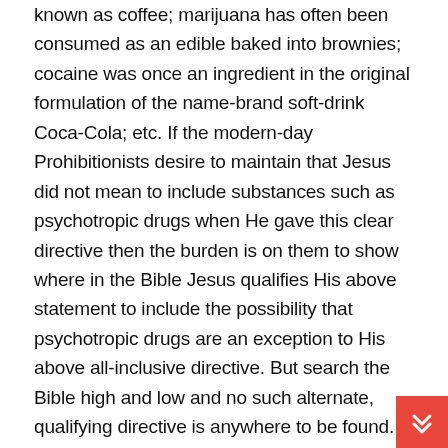known as coffee; marijuana has often been consumed as an edible baked into brownies; cocaine was once an ingredient in the original formulation of the name-brand soft-drink Coca-Cola; etc. If the modern-day Prohibitionists desire to maintain that Jesus did not mean to include substances such as psychotropic drugs when He gave this clear directive then the burden is on them to show where in the Bible Jesus qualifies His above statement to include the possibility that psychotropic drugs are an exception to His above all-inclusive directive. But search the Bible high and low and no such alternate, qualifying directive is anywhere to be found.
Some may be quick to point out that the angel sent by Jesus to John the Reveler said in Revelation 9:21 “And they did not repent of their murders or their sorceries or their immoralities or their thefts.” (New...